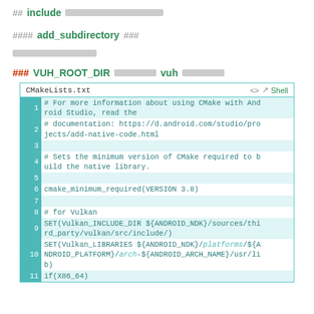## include [gray block]
#### add_subdirectory ###
[gray text block]
### VUH_ROOT_DIR [gray] vuh [gray]
[Figure (screenshot): Code editor showing CMakeLists.txt file with CMake configuration for Android Vulkan project. Lines 1-11 visible with comments and SET commands.]